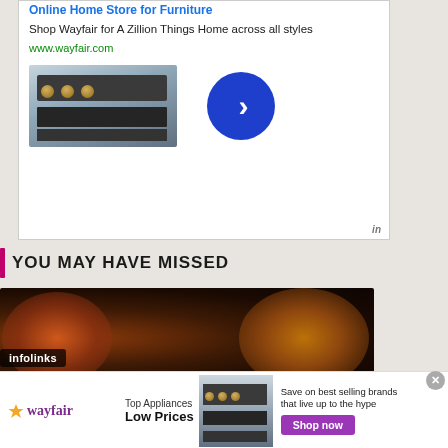[Figure (screenshot): Wayfair advertisement: top portion showing title 'Online Home Store for Furniture', tagline 'Shop Wayfair for A Zillion Things Home across all styles', URL 'www.wayfair.com', appliance image, and blue arrow button]
Shop Wayfair for A Zillion Things Home across all styles
www.wayfair.com
YOU MAY HAVE MISSED
[Figure (photo): Dark moody image with fire/orange glowing light, appears to show a figure or scene with dramatic lighting]
[Figure (screenshot): Infolinks badge overlay on article image]
[Figure (screenshot): Wayfair bottom banner ad: logo, 'Top Appliances Low Prices', appliance image, 'Save on best selling brands that live up to the hype', 'Shop now' button]